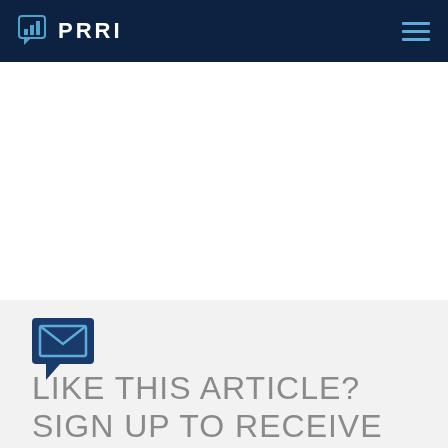PRRI
[Figure (logo): PRRI logo with bar chart icon in speech bubble and text 'PRRI' in white on dark navy header, with hamburger menu icon on right]
[Figure (illustration): Email/envelope icon inside a speech bubble shape, navy blue color, representing newsletter signup]
LIKE THIS ARTICLE? SIGN UP TO RECEIVE